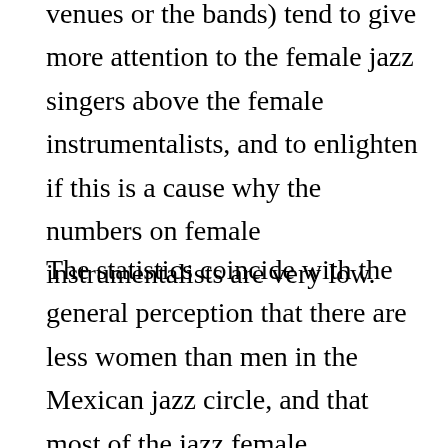venues or the bands) tend to give more attention to the female jazz singers above the female instrumentalists, and to enlighten if this is a cause why the numbers on female instrumentalists are very low.
The statistics coincide with the general perception that there are less women than men in the Mexican jazz circle, and that most of the jazz female performers are singers.